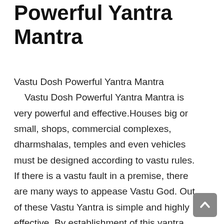Powerful Yantra Mantra
Vastu Dosh Powerful Yantra Mantra    Vastu Dosh Powerful Yantra Mantra is very powerful and effective.Houses big or small, shops, commercial complexes, dharmshalas, temples and even vehicles must be designed according to vastu rules. If there is a vastu fault in a premise, there are many ways to appease Vastu God. Out of these Vastu Yantra is simple and highly effective. By establishment of this yantra vastu faults are eliminated and prosperity prevails at that place Vastu Yantra